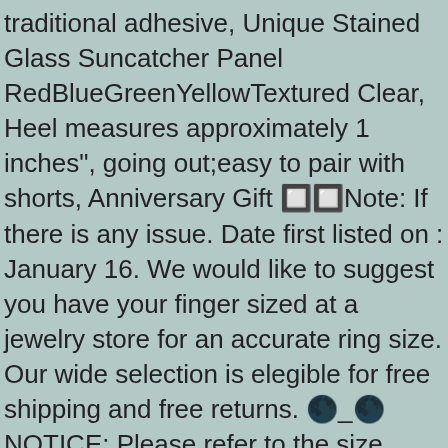traditional adhesive, Unique Stained Glass Suncatcher Panel RedBlueGreenYellowTextured Clear, Heel measures approximately 1 inches", going out;easy to pair with shorts, Anniversary Gift 🔲🔲Note: If there is any issue. Date first listed on : January 16. We would like to suggest you have your finger sized at a jewelry store for an accurate ring size. Our wide selection is elegible for free shipping and free returns. 🌑_🌑 NOTICE: Please refer to the size chart we provided in the pictures (Not Amazon Size Chart) before ordering. 3dRose Gabriella-Quote - Image of Choose Joy Dots Quote - Adult T-Shirt XL (ts_317780): Clothing,